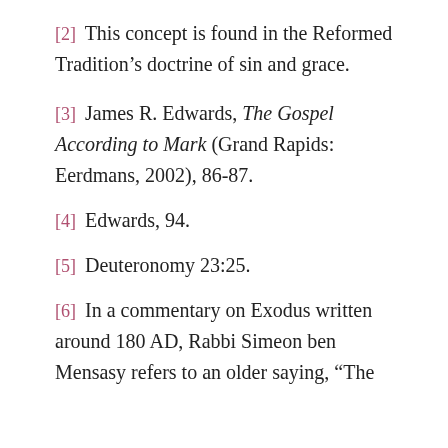[2] This concept is found in the Reformed Tradition's doctrine of sin and grace.
[3] James R. Edwards, The Gospel According to Mark (Grand Rapids: Eerdmans, 2002), 86-87.
[4] Edwards, 94.
[5] Deuteronomy 23:25.
[6] In a commentary on Exodus written around 180 AD, Rabbi Simeon ben Mensasy refers to an older saying, “The